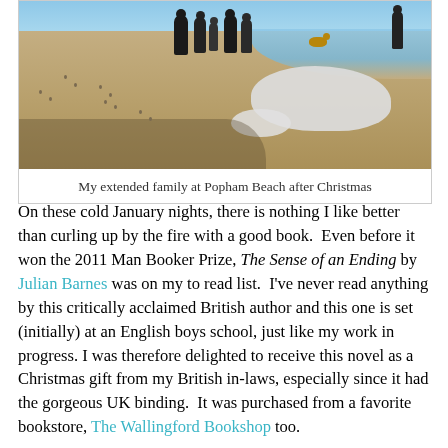[Figure (photo): People walking on a beach in winter with snow patches on the sand. Blue sky visible at top. Multiple figures and a dog on a sandy beach.]
My extended family at Popham Beach after Christmas
On these cold January nights, there is nothing I like better than curling up by the fire with a good book.  Even before it won the 2011 Man Booker Prize, The Sense of an Ending by Julian Barnes was on my to read list.  I've never read anything by this critically acclaimed British author and this one is set (initially) at an English boys school, just like my work in progress. I was therefore delighted to receive this novel as a Christmas gift from my British in-laws, especially since it had the gorgeous UK binding.  It was purchased from a favorite bookstore, The Wallingford Bookshop too.